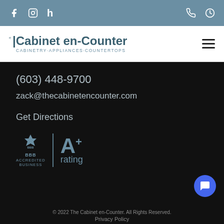Social icons: Facebook, Instagram, Houzz (left); Phone, Clock (right)
[Figure (logo): The Cabinet en-Counter logo — CABINETRY·APPLIANCES·COUNTERTOPS]
(603) 448-9700
zack@thecabinetencounter.com
Get Directions
[Figure (logo): BBB Accredited Business logo with A+ rating]
© 2022 The Cabinet en-Counter. All Rights Reserved. Privacy Policy